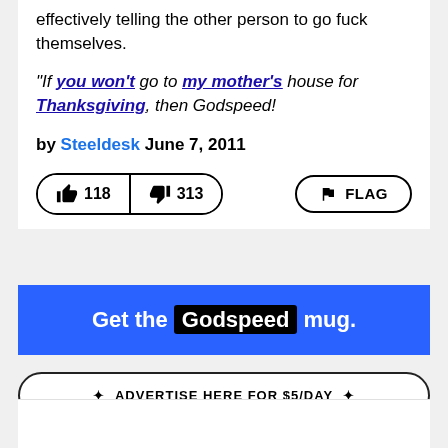way of ending a a heated conversation, effectively telling the other person to go fuck themselves.
"If you won't go to my mother's house for Thanksgiving, then Godspeed!
by Steeldesk June 7, 2011
[Figure (other): Like (thumbs up) button showing 118 votes, Dislike (thumbs down) button showing 313 votes, and a FLAG button]
Get the Godspeed mug.
ADVERTISE HERE FOR $5/DAY